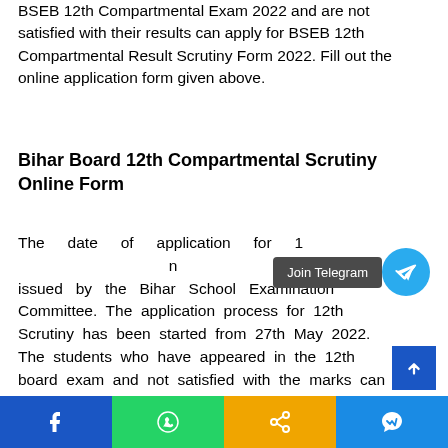BSEB 12th Compartmental Exam 2022 and are not satisfied with their results can apply for BSEB 12th Compartmental Result Scrutiny Form 2022. Fill out the online application form given above.
Bihar Board 12th Compartmental Scrutiny Online Form
The date of application for 12th has been issued by the Bihar School Examination Committee. The application process for 12th Scrutiny has been started from 27th May 2022. The students who have appeared in the 12th board exam and not satisfied with the marks can apply for the scrutiny. The last date to apply for scrutiny is 2nd June 2022.
[Figure (other): Join Telegram button overlay with Telegram icon on blue circle, and bottom social share bar with Facebook, WhatsApp, share, and Messenger icons]